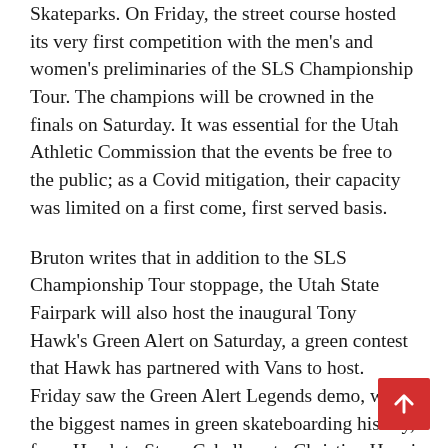Skateparks. On Friday, the street course hosted its very first competition with the men's and women's preliminaries of the SLS Championship Tour. The champions will be crowned in the finals on Saturday. It was essential for the Utah Athletic Commission that the events be free to the public; as a Covid mitigation, their capacity was limited on a first come, first served basis.
Bruton writes that in addition to the SLS Championship Tour stoppage, the Utah State Fairpark will also host the inaugural Tony Hawk's Green Alert on Saturday, a green contest that Hawk has partnered with Vans to host. Friday saw the Green Alert Legends demo, where the biggest names in green skateboarding history, from Hawk to Steve Caballero to Christian Hosoi to Bob Burnquist to Andy Macdonald, all made their way to Hawk's Green Ramp, which it shipped to Salt Lake City from its warehouse outside. San Diego, to show off their ever-impressive skills.
In the two decades between hosting the 2002 Winter Olympics